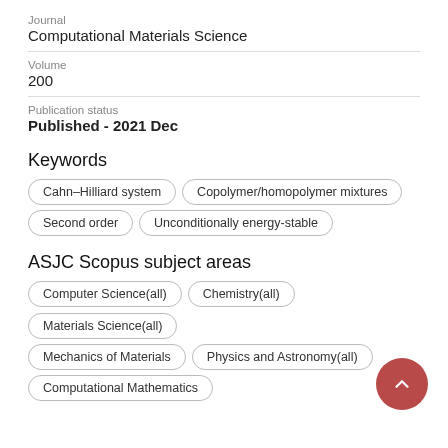Journal
Computational Materials Science
Volume
200
Publication status
Published - 2021 Dec
Keywords
Cahn–Hilliard system
Copolymer/homopolymer mixtures
Second order
Unconditionally energy-stable
ASJC Scopus subject areas
Computer Science(all)
Chemistry(all)
Materials Science(all)
Mechanics of Materials
Physics and Astronomy(all)
Computational Mathematics